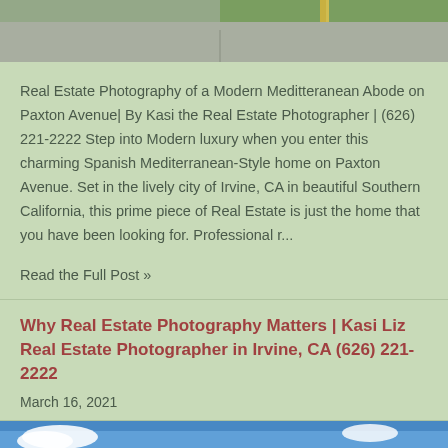[Figure (photo): Aerial or street-level photo of a suburban road/driveway area with green landscaping and a yellow pole, cropped at top]
Real Estate Photography of a Modern Meditteranean Abode on Paxton Avenue| By Kasi the Real Estate Photographer | (626) 221-2222 Step into Modern luxury when you enter this charming Spanish Mediterranean-Style home on Paxton Avenue. Set in the lively city of Irvine, CA in beautiful Southern California, this prime piece of Real Estate is just the home that you have been looking for. Professional r...
Read the Full Post »
Why Real Estate Photography Matters | Kasi Liz Real Estate Photographer in Irvine, CA (626) 221-2222
March 16, 2021
[Figure (photo): Photo of a building exterior with blue sky and white clouds, cropped at bottom]